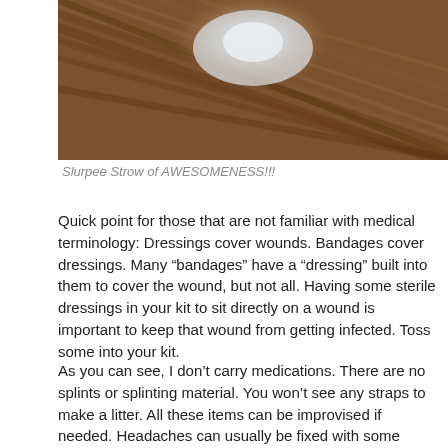[Figure (photo): Close-up photo of a wooden surface with a bright glare/reflection near the center, showing wood grain texture in brown tones.]
Slurpee Strow of AWESOMENESS!!!
Quick point for those that are not familiar with medical terminology: Dressings cover wounds. Bandages cover dressings. Many “bandages” have a “dressing” built into them to cover the wound, but not all. Having some sterile dressings in your kit to sit directly on a wound is important to keep that wound from getting infected. Toss some into your kit.
As you can see, I don’t carry medications. There are no splints or splinting material. You won’t see any straps to make a litter. All these items can be improvised if needed. Headaches can usually be fixed with some strong coffee as